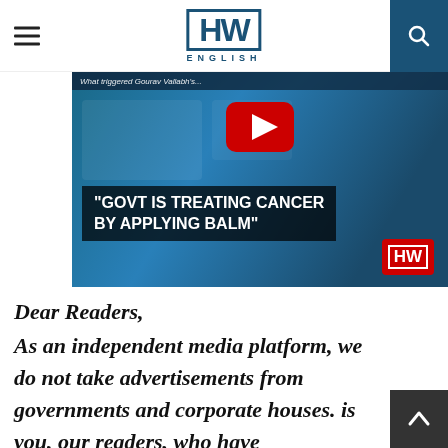HW ENGLISH
[Figure (screenshot): YouTube video thumbnail showing a man in a brown vest holding a microphone with HW logo, with overlay text: 'GOVT IS TREATING CANCER BY APPLYING BALM' and a YouTube play button]
Dear Readers,
As an independent media platform, we do not take advertisements from governments and corporate houses. is you, our readers, who have